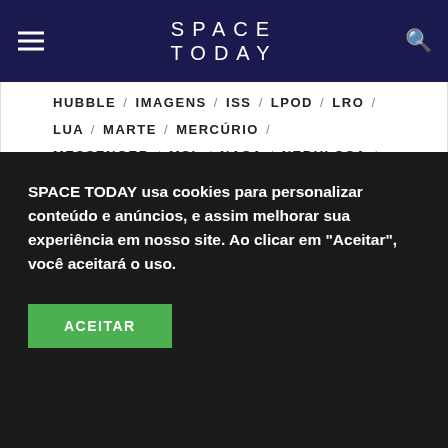SPACE TODAY
HUBBLE / IMAGENS / ISS / LPOD / LRO / LUA / MARTE / MERCÚRIO / MESSENGER / MSL / NASA / NEBULOSA / POSTADAY2011 / POSTADAY2012 / POSTADAY2013 / POSTADAY2014 / POSTADAY2015 / POSTADAY2016 / POSTADAY2017 / POSTADAY2018 / POSTADAY2019 / POSTADAY2020 / POSTADAY2021 / POSTADAY2022 / SATURNO / SISTEMA SOLAR / SOL / SPACE TODAY TV / TELESCÓPIOS /
SPACE TODAY usa cookies para personalizar conteúdo e anúncios, e assim melhorar sua experiência em nosso site. Ao clicar em "Aceitar", você aceitará o uso.
ACEITAR